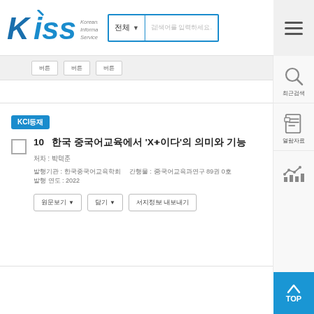[Figure (logo): KISS Koreanstudies Information Service System logo with blue lettering]
KCI등재
10  한국 중국어 문법에서 'X+이다'의 의미와 기능
저자 : 박덕준
발행기관 : 한국중국어교육학회     간행물 : 중국어교육과연구 89권 0호     발행 연도 : 2022
[Figure (screenshot): KISS academic database search results page showing article listing UI with KCI badge, article title in Korean/Chinese, metadata, and action buttons]